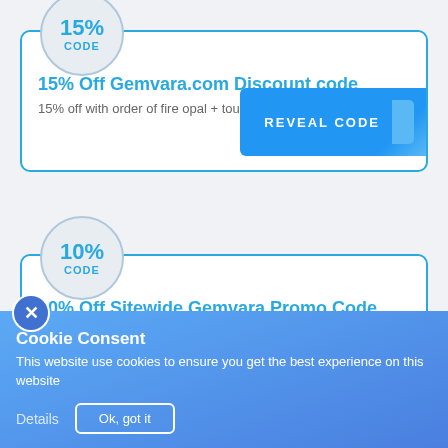[Figure (other): Badge circle showing '15%' and 'CODE' for first coupon]
15% Off Gemvara.com Discount code
15% off with order of fire opal + tourmaline styles.
REVEAL CODE
[Figure (other): Badge circle showing '10%' and 'CODE' for second coupon]
10% Off Sitewide Gemvara Promo Code
For a limited time get an extra 10% off on your order with this Gemvara promo code!
Cookie Consent
This website use cookies to ensure you get the best experience on this website
Details    Ok, got it